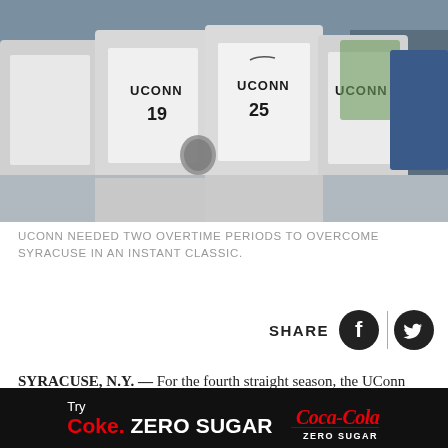[Figure (photo): UConn field hockey players in white jerseys with numbers 19 and 25 celebrating together, arms around each other on a field.]
UCONN NEEDED TWO OVERTIME PERIODS TO OVERCOME SYRACUSE IN AN INSTANT CLASSIC.
[Figure (infographic): Share buttons row with SHARE label, Facebook icon, vertical divider, and Twitter icon.]
SYRACUSE, N.Y. — For the fourth straight season, the UConn field hockey team is heading to the NCAA Final Four, after an incredible 3-2 double-overtime win over third-seeded Syracuse on Sunday afternoon at Coyne Stadium.
[Figure (infographic): Advertisement banner: Try Coke Zero Sugar with Coca-Cola Zero Sugar logo on black background.]